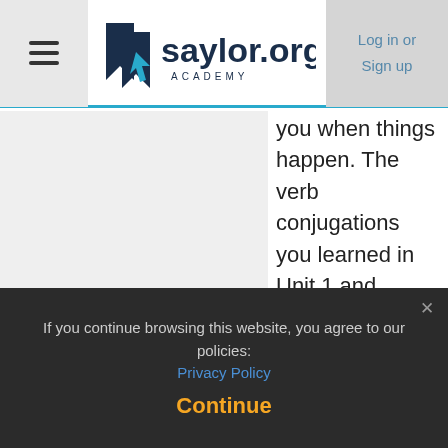saylor.org Academy — Log in or Sign up
you when things happen. The verb conjugations you learned in Unit 1 and certain phrases like "last week" and "yesterday" will tell you if an event happened in the past or is happening now. Using these tools will help you follow an article's timeline and the order of its events (letter...
If you continue browsing this website, you agree to our policies: Privacy Policy
Continue